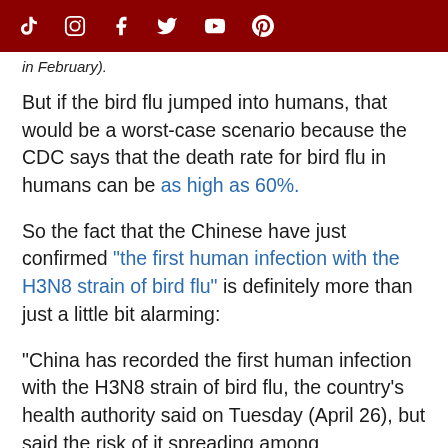[Social media icons: TikTok, Instagram, Facebook, Twitter, YouTube, Pinterest]
in February).
But if the bird flu jumped into humans, that would be a worst-case scenario because the CDC says that the death rate for bird flu in humans can be as high as 60%.
So the fact that the Chinese have just confirmed "the first human infection with the H3N8 strain of bird flu" is definitely more than just a little bit alarming:
"China has recorded the first human infection with the H3N8 strain of bird flu, the country's health authority said on Tuesday (April 26), but said the risk of it spreading among